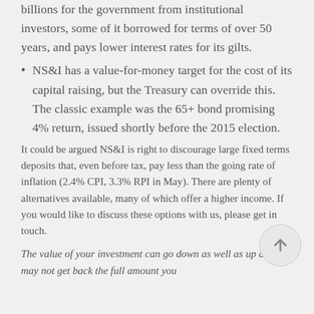billions for the government from institutional investors, some of it borrowed for terms of over 50 years, and pays lower interest rates for its gilts.
NS&I has a value-for-money target for the cost of its capital raising, but the Treasury can override this. The classic example was the 65+ bond promising 4% return, issued shortly before the 2015 election.
It could be argued NS&I is right to discourage large fixed terms deposits that, even before tax, pay less than the going rate of inflation (2.4% CPI, 3.3% RPI in May). There are plenty of alternatives available, many of which offer a higher income. If you would like to discuss these options with us, please get in touch.
The value of your investment can go down as well as up and you may not get back the full amount you